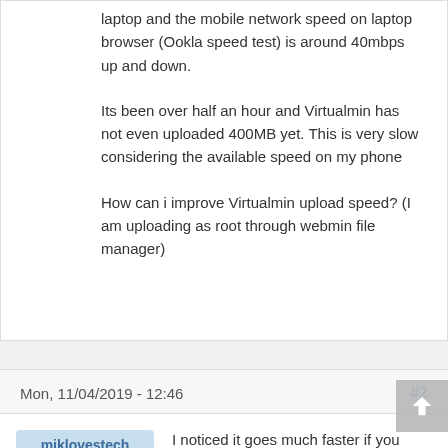laptop and the mobile network speed on laptop browser (Ookla speed test) is around 40mbps up and down.
Its been over half an hour and Virtualmin has not even uploaded 400MB yet. This is very slow considering the available speed on my phone
How can i improve Virtualmin upload speed? (I am uploading as root through webmin file manager)
Mon, 11/04/2019 - 12:46
#2
miklovestech
I noticed it goes much faster if you increase your resource limits of PHP